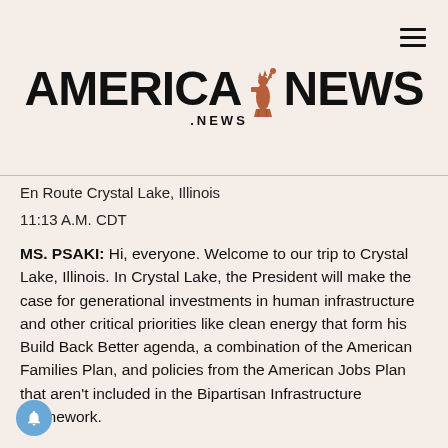AMERICA NEWS .NEWS
En Route Crystal Lake, Illinois
11:13 A.M. CDT
MS. PSAKI:  Hi, everyone.  Welcome to our trip to Crystal Lake, Illinois.  In Crystal Lake, the President will make the case for generational investments in human infrastructure and other critical priorities like clean energy that form his Build Back Better agenda, a combination of the American Families Plan, and policies from the American Jobs Plan that aren't included in the Bipartisan Infrastructure Framework.
At McHenry County College, which has workforce development programs and a childcare center, the President will underline the specific game-changing